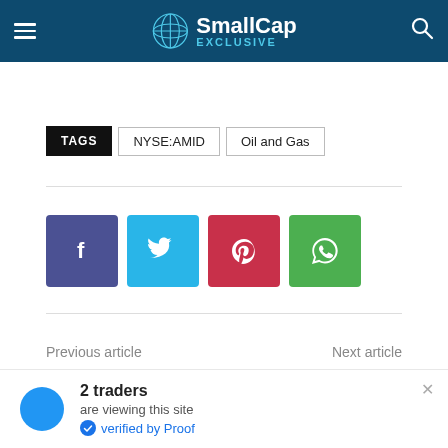SmallCap EXCLUSIVE
TAGS  NYSE:AMID  Oil and Gas
[Figure (infographic): Social share buttons: Facebook (blue-purple), Twitter (light blue), Pinterest (red), WhatsApp (green)]
Previous article    Next article
2 traders are viewing this site verified by Proof